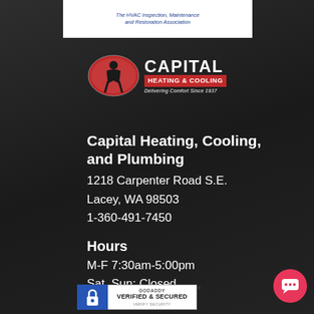[Figure (logo): HVAC Inspection, Maintenance and Restoration Association logo with text: The HVAC Inspection, Maintenance and Restoration Association]
[Figure (logo): Capital Heating & Cooling logo with oval emblem and text: CAPITAL HEATING & COOLING, Delivering Comfort Since 1937]
Capital Heating, Cooling, and Plumbing
1218 Carpenter Road S.E.
Lacey, WA 98503
1-360-491-7450
Hours
M-F 7:30am-5:00pm
Sat, Sun: Closed
[Figure (logo): GoDaddy Verified & Secured badge with lock icon and text: GODADDY VERIFIED & SECURED VERIFY SECURITY]